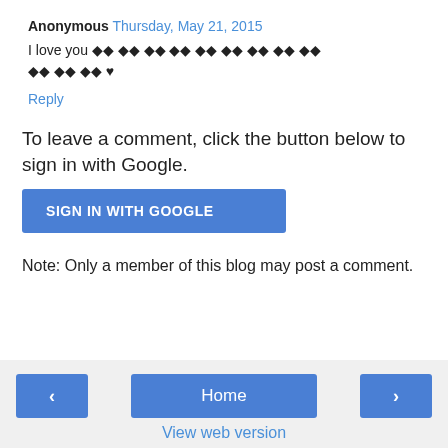Anonymous Thursday, May 21, 2015
I love you �� �� �� �� �� �� �� �� �� �� �� �� ♥
Reply
To leave a comment, click the button below to sign in with Google.
[Figure (other): SIGN IN WITH GOOGLE button]
Note: Only a member of this blog may post a comment.
< Home > View web version Powered by Blogger.